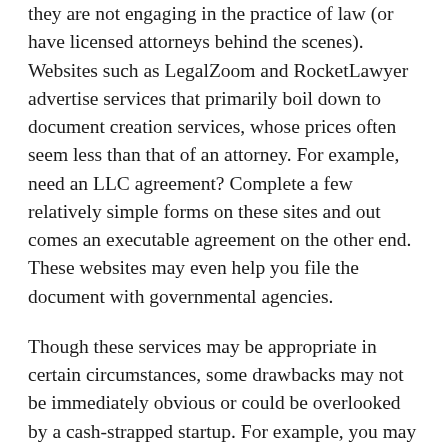they are not engaging in the practice of law (or have licensed attorneys behind the scenes). Websites such as LegalZoom and RocketLawyer advertise services that primarily boil down to document creation services, whose prices often seem less than that of an attorney. For example, need an LLC agreement? Complete a few relatively simple forms on these sites and out comes an executable agreement on the other end. These websites may even help you file the document with governmental agencies.
Though these services may be appropriate in certain circumstances, some drawbacks may not be immediately obvious or could be overlooked by a cash-strapped startup. For example, you may easily complete a document to form an S-corporation, but how did you know that was the right entity for you? What if an investor wants to give you $1 million, but can't invest in